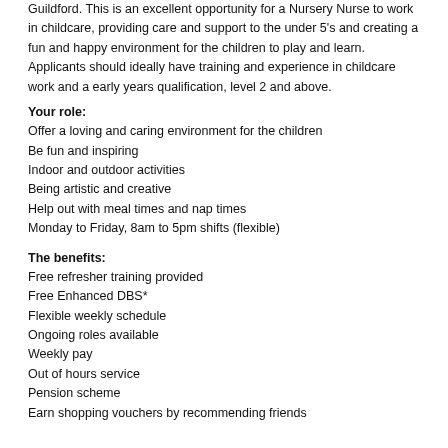Guildford. This is an excellent opportunity for a Nursery Nurse to work in childcare, providing care and support to the under 5's and creating a fun and happy environment for the children to play and learn. Applicants should ideally have training and experience in childcare work and a early years qualification, level 2 and above.
Your role:
Offer a loving and caring environment for the children
Be fun and inspiring
Indoor and outdoor activities
Being artistic and creative
Help out with meal times and nap times
Monday to Friday, 8am to 5pm shifts (flexible)
The benefits:
Free refresher training provided
Free Enhanced DBS*
Flexible weekly schedule
Ongoing roles available
Weekly pay
Out of hours service
Pension scheme
Earn shopping vouchers by recommending friends
Nursery Nurses wanted for immediate start.
If this role as nursery nurse sounds like what you're looking